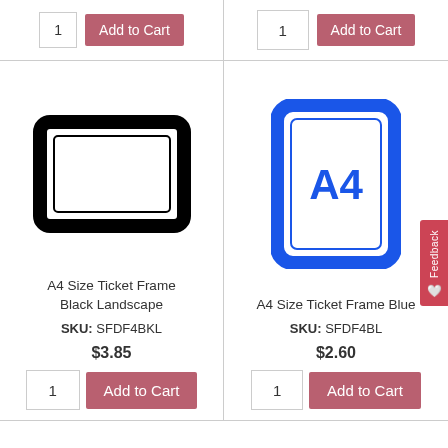[Figure (screenshot): Quantity input box showing '1' and Add to Cart button (top-left)]
[Figure (screenshot): Quantity input box showing '1' and Add to Cart button (top-right)]
[Figure (illustration): A4 Size Ticket Frame Black Landscape - black rectangular landscape frame illustration]
A4 Size Ticket Frame Black Landscape
SKU: SFDF4BKL
$3.85
[Figure (screenshot): Quantity input box showing '1' and Add to Cart button (bottom-left)]
[Figure (illustration): A4 Size Ticket Frame Blue - blue portrait frame with A4 text in blue inside]
A4 Size Ticket Frame Blue
SKU: SFDF4BL
$2.60
[Figure (screenshot): Quantity input box showing '1' and Add to Cart button (bottom-right)]